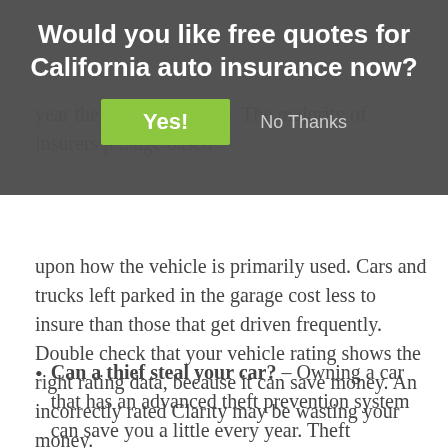Would you like free quotes for California auto insurance now?
year the higher your rate. The majority of insurers pr...age based upon how the vehicle is primarily used. Cars and trucks left parked in the garage cost less to insure than those that get driven frequently. Double check that your vehicle rating shows the right rating data, because it can save money. An incorrectly rated Clarity may be wasting your money.
Can a thief steal your car? – Owning a car that has an advanced theft prevention system can save you a little every year. Theft prevention devices such as vehicle immobilizer systems,